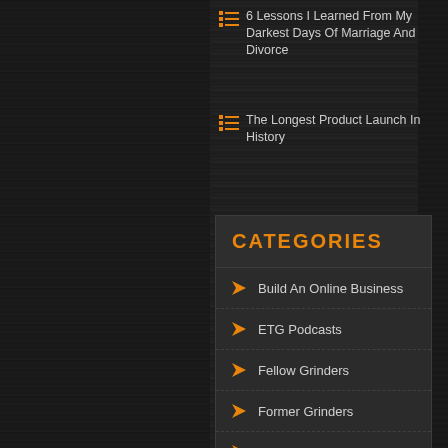6 Lessons I Learned From My Darkest Days Of Marriage And Divorce
The Longest Product Launch In History
CATEGORIES
Build An Online Business
ETG Podcasts
Fellow Grinders
Former Grinders
Hate Your Job?
Live Your Passion